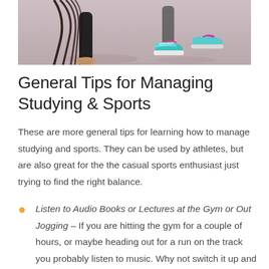[Figure (photo): Partial view of two people's feet and lower legs in athletic/running positions on a light surface; one person barefoot, the other wearing colorful sneakers]
General Tips for Managing Studying & Sports
These are more general tips for learning how to manage studying and sports. They can be used by athletes, but are also great for the the casual sports enthusiast just trying to find the right balance.
Listen to Audio Books or Lectures at the Gym or Out Jogging – If you are hitting the gym for a couple of hours, or maybe heading out for a run on the track you probably listen to music. Why not switch it up and use that time to listen to